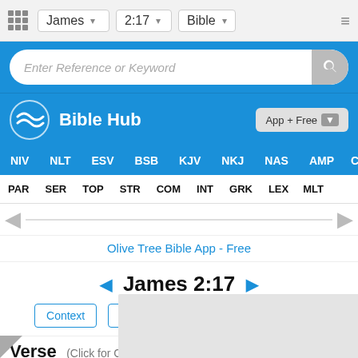James 2:17 Bible
Enter Reference or Keyword
Bible Hub  App + Free
NIV  NLT  ESV  BSB  KJV  NKJ  NAS  AMP  CS
PAR  SER  TOP  STR  COM  INT  GRK  LEX  MLT
Olive Tree Bible App - Free
◄ James 2:17 ►
Context  Crossref  Comment  Greek
Verse (Click for Chapter)
New
In the